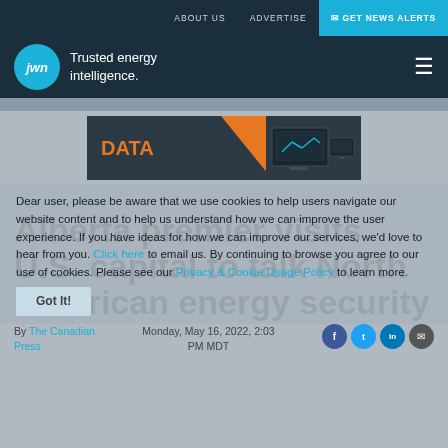ABOUT US   ADVERTISE   ✉ GET NEWS ALERTS
[Figure (logo): JWN logo circle with text 'Trusted energy intelligence.']
[Figure (infographic): Advertisement banner with orange 'DATA' label and device illustrations on dark background]
Dear user, please be aware that we use cookies to help users navigate our website content and to help us understand how we can improve the user experience. If you have ideas for how we can improve our services, we'd love to hear from you. Click here to email us. By continuing to browse you agree to our use of cookies. Please see our Privacy & Cookie Usage Policy to learn more.
Got It!
U.S. & International
Alberta premier visits U.S. capital to talk North American energy security
By The Canadian Press
Monday, May 16, 2022, 2:03 PM MDT